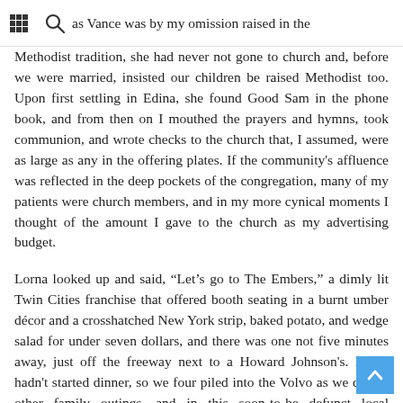Methodist tradition, she found Good Sam in the phone book, and from then on I mouthed the prayers and hymns, took communion, and as Vance was by my omission raised in the
Methodist tradition, she had never not gone to church and, before we were married, insisted our children be raised Methodist too. Upon first settling in Edina, she found Good Sam in the phone book, and from then on I mouthed the prayers and hymns, took communion, and wrote checks to the church that, I assumed, were as large as any in the offering plates. If the community's affluence was reflected in the deep pockets of the congregation, many of my patients were church members, and in my more cynical moments I thought of the amount I gave to the church as my advertising budget.
Lorna looked up and said, “Let’s go to The Embers,” a dimly lit Twin Cities franchise that offered booth seating in a burnt umber décor and a crosshatched New York strip, baked potato, and wedge salad for under seven dollars, and there was one not five minutes away, just off the freeway next to a Howard Johnson’s. Lorna hadn’t started dinner, so we four piled into the Volvo as we did on other family outings, and in this soon-to-be defunct local institution had our last supper. Lorna ate mutely, and in time, I feared, I’d hear what she thought about what I’d done, but upon our return, after we’d played back all the answering machine messages from anonymous callers informing us